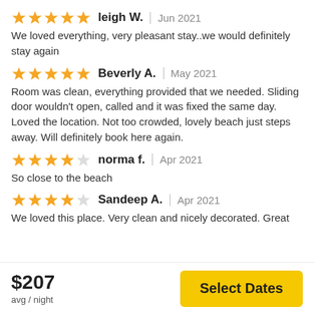leigh W. | Jun 2021 — We loved everything, very pleasant stay..we would definitely stay again
Beverly A. | May 2021 — Room was clean, everything provided that we needed. Sliding door wouldn't open, called and it was fixed the same day. Loved the location. Not too crowded, lovely beach just steps away. Will definitely book here again.
norma f. | Apr 2021 — So close to the beach
Sandeep A. | Apr 2021 — We loved this place. Very clean and nicely decorated. Great
$207 avg / night
Select Dates